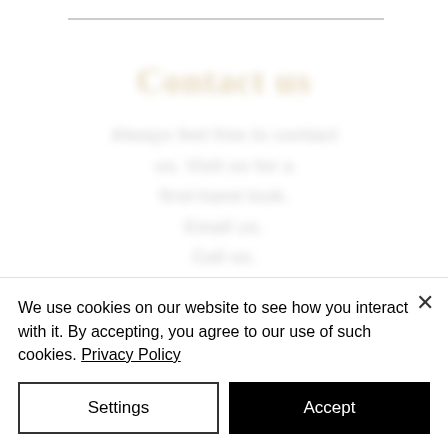Contact us
Always feel free to contact us. Visit us for a first-hand look. Email us. Call us.
Directions & Parking
We use cookies on our website to see how you interact with it. By accepting, you agree to our use of such cookies. Privacy Policy
Settings
Accept